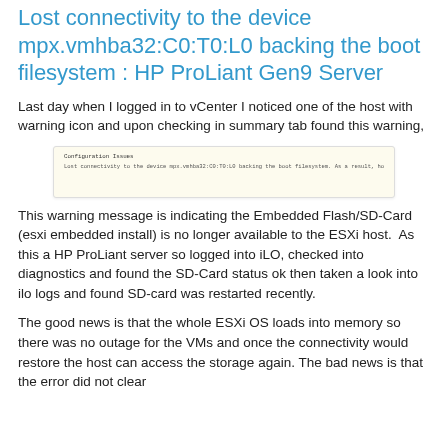Lost connectivity to the device mpx.vmhba32:C0:T0:L0 backing the boot filesystem : HP ProLiant Gen9 Server
Last day when I logged in to vCenter I noticed one of the host with warning icon and upon checking in summary tab found this warning,
[Figure (screenshot): Screenshot of a vCenter warning message about lost connectivity to the device backing the boot filesystem]
This warning message is indicating the Embedded Flash/SD-Card (esxi embedded install) is no longer available to the ESXi host.  As this a HP ProLiant server so logged into iLO, checked into diagnostics and found the SD-Card status ok then taken a look into ilo logs and found SD-card was restarted recently.
The good news is that the whole ESXi OS loads into memory so there was no outage for the VMs and once the connectivity would restore the host can access the storage again. The bad news is that the error did not clear